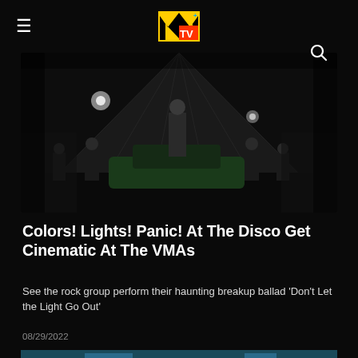MTV
[Figure (photo): Concert/performance scene with a person standing on a car on a dark stage, surrounded by dancers and performers in dramatic lighting]
Colors! Lights! Panic! At The Disco Get Cinematic At The VMAs
See the rock group perform their haunting breakup ballad 'Don't Let the Light Go Out'
08/29/2022
[Figure (photo): Partial view of another article's thumbnail image — a person with dark hair at what appears to be an MTV event]